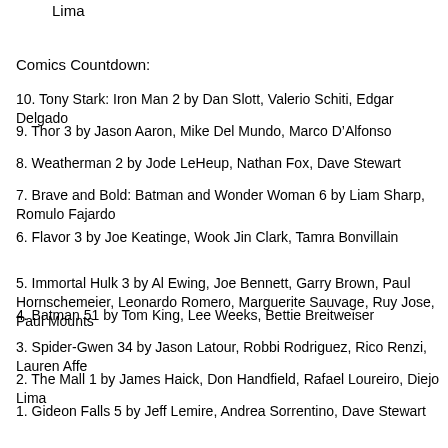Lima
Comics Countdown:
10. Tony Stark: Iron Man 2 by Dan Slott, Valerio Schiti, Edgar Delgado
9. Thor 3 by Jason Aaron, Mike Del Mundo, Marco D’Alfonso
8. Weatherman 2 by Jode LeHeup, Nathan Fox, Dave Stewart
7. Brave and Bold: Batman and Wonder Woman 6 by Liam Sharp, Romulo Fajardo
6. Flavor 3 by Joe Keatinge, Wook Jin Clark, Tamra Bonvillain
5. Immortal Hulk 3 by Al Ewing, Joe Bennett, Garry Brown, Paul Hornschemeier, Leonardo Romero, Marguerite Sauvage, Ruy Jose, Paul Mounts
4. Batman 51 by Tom King, Lee Weeks, Bettie Breitweiser
3. Spider-Gwen 34 by Jason Latour, Robbi Rodriguez, Rico Renzi, Lauren Affe
2. The Mall 1 by James Haick, Don Handfield, Rafael Loureiro, Diejo Lima
1. Gideon Falls 5 by Jeff Lemire, Andrea Sorrentino, Dave Stewart